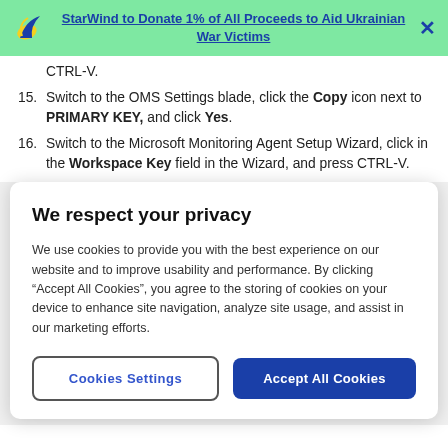StarWind to Donate 1% of All Proceeds to Aid Ukrainian War Victims
CTRL-V.
15. Switch to the OMS Settings blade, click the Copy icon next to PRIMARY KEY, and click Yes.
16. Switch to the Microsoft Monitoring Agent Setup Wizard, click in the Workspace Key field in the Wizard, and press CTRL-V.
We respect your privacy
We use cookies to provide you with the best experience on our website and to improve usability and performance. By clicking “Accept All Cookies”, you agree to the storing of cookies on your device to enhance site navigation, analyze site usage, and assist in our marketing efforts.
Cookies Settings
Accept All Cookies